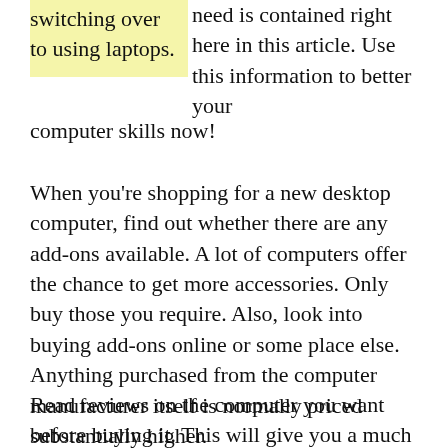switching over to using laptops. need is contained right here in this article. Use this information to better your computer skills now!
When you're shopping for a new desktop computer, find out whether there are any add-ons available. A lot of computers offer the chance to get more accessories. Only buy those you require. Also, look into buying add-ons online or some place else. Anything purchased from the computer manufacturer itself is normally priced substantially higher.
Read reviews on the computer you want before buying it. This will give you a much better idea